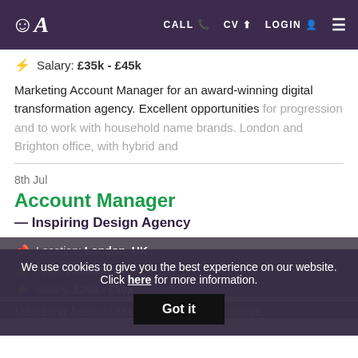A — CALL CV LOGIN
Salary: £35k - £45k
Marketing Account Manager for an award-winning digital transformation agency. Excellent opportunities for progression and to work with household name brands. London and Brighton office, with hybrid and
8th Jul
Account Manager
— Inspiring Design Agency
Location: London, UK
Type: Permanent
Salary: £26k - £30k
We use cookies to give you the best experience on our website. Click here for more information.
Got it
Marketing Account Manager for a collaborative,